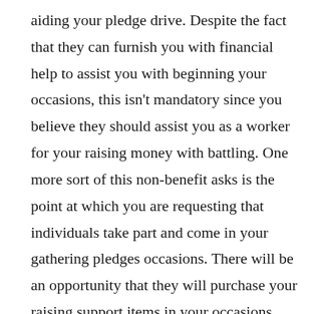aiding your pledge drive. Despite the fact that they can furnish you with financial help to assist you with beginning your occasions, this isn't mandatory since you believe they should assist you as a worker for your raising money with battling. One more sort of this non-benefit asks is the point at which you are requesting that individuals take part and come in your gathering pledges occasions. There will be an opportunity that they will purchase your raising support items in your occasions however you are simply requesting that they come and see what sort of gathering pledges occasion you have arranged for them. It is as of now their own choice to buy your items or give gifts to your pledge drive. Requesting that somebody come to your raising money occasions will assist them with understanding the real essence of